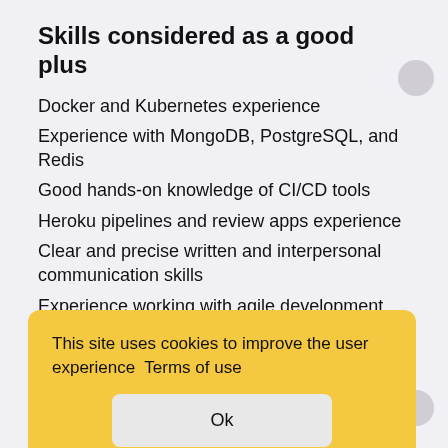Skills considered as a good plus
Docker and Kubernetes experience
Experience with MongoDB, PostgreSQL, and Redis
Good hands-on knowledge of CI/CD tools
Heroku pipelines and review apps experience
Clear and precise written and interpersonal communication skills
Experience working with agile development practices
Effective time management and organizational skills
Working experience in a fully remote working environment
This site uses cookies to improve the user experience  Terms of use
Ok
Perks & Benefits